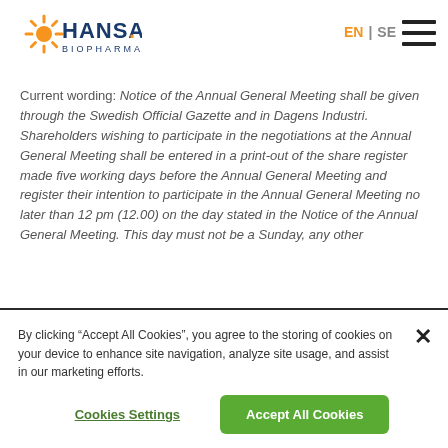[Figure (logo): Hansa Biopharma logo with orange sunburst and blue/orange text]
The Board of Directors proposes that the Annual General Meeting resolves that § 8, second paragraph in the Articles of Association be amended as follows.
Current wording: Notice of the Annual General Meeting shall be given through the Swedish Official Gazette and in Dagens Industri. Shareholders wishing to participate in the negotiations at the Annual General Meeting shall be entered in a print-out of the share register made five working days before the Annual General Meeting and register their intention to participate in the Annual General Meeting no later than 12 pm (12.00) on the day stated in the Notice of the Annual General Meeting. This day must not be a Sunday, any other
By clicking “Accept All Cookies”, you agree to the storing of cookies on your device to enhance site navigation, analyze site usage, and assist in our marketing efforts.
Cookies Settings
Accept All Cookies